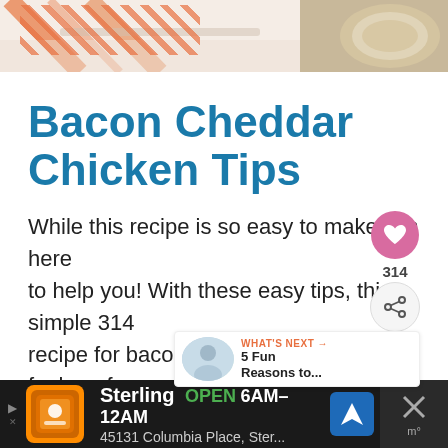[Figure (photo): Two food photos side by side at top: left shows an orange/white striped cloth or food item on a tray, right shows a breaded/fried food item]
Bacon Cheddar Chicken Tips
While this recipe is so easy to make, I'm here to help you! With these easy tips, this simple recipe for bacon cheddar chicken is foolproof
[Figure (infographic): Social sharing widget with heart button and share count 314, and What's Next panel showing '5 Fun Reasons to...']
[Figure (screenshot): Advertisement bar for Sterling restaurant: OPEN 6AM-12AM, 45131 Columbia Place, Ster...]